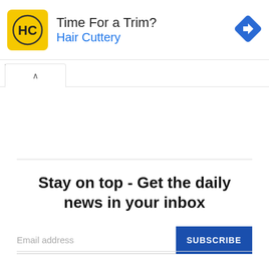[Figure (other): Hair Cuttery advertisement banner with yellow logo showing HC letters in a circle, headline 'Time For a Trim?' and brand name 'Hair Cuttery' in blue, with a blue diamond navigation icon on the right]
Stay on top - Get the daily news in your inbox
Email address
SUBSCRIBE